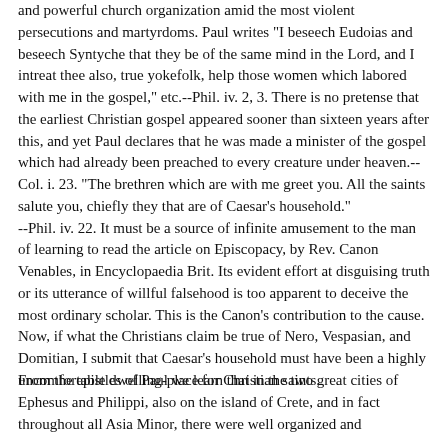and powerful church organization amid the most violent persecutions and martyrdoms. Paul writes "I beseech Eudoias and beseech Syntyche that they be of the same mind in the Lord, and I intreat thee also, true yokefolk, help those women which labored with me in the gospel," etc.--Phil. iv. 2, 3. There is no pretense that the earliest Christian gospel appeared sooner than sixteen years after this, and yet Paul declares that he was made a minister of the gospel which had already been preached to every creature under heaven.--Col. i. 23. "The brethren which are with me greet you. All the saints salute you, chiefly they that are of Caesar's household."
--Phil. iv. 22. It must be a source of infinite amusement to the man of learning to read the article on Episcopacy, by Rev. Canon Venables, in Encyclopaedia Brit. Its evident effort at disguising truth or its utterance of willful falsehood is too apparent to deceive the most ordinary scholar. This is the Canon's contribution to the cause. Now, if what the Christians claim be true of Nero, Vespasian, and Domitian, I submit that Caesar's household must have been a highly uncomfortable dwelling-place for Christian saints.
From the epistles of Paul we learn that in the two great cities of Ephesus and Philippi, also on the island of Crete, and in fact throughout all Asia Minor, there were well organized and